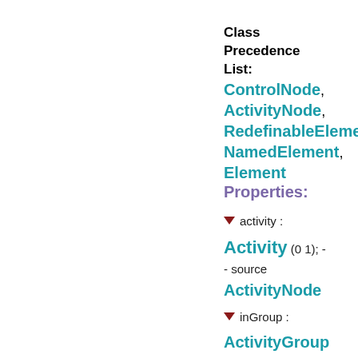Class Precedence List: ControlNode, ActivityNode, RedefinableElement, NamedElement, Element
Properties:
▼ activity : Activity (0 1); -- source ActivityNode
▼ inGroup : ActivityGroup (0 *); -- source